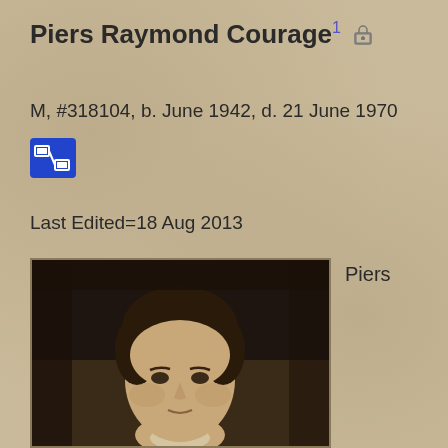Piers Raymond Courage
M, #318104, b. June 1942, d. 21 June 1970
Last Edited=18 Aug 2013
[Figure (photo): Black and white portrait photograph of Piers Raymond Courage, a young man with dark curly hair, smiling slightly, wearing a light-colored shirt or jacket]
Piers